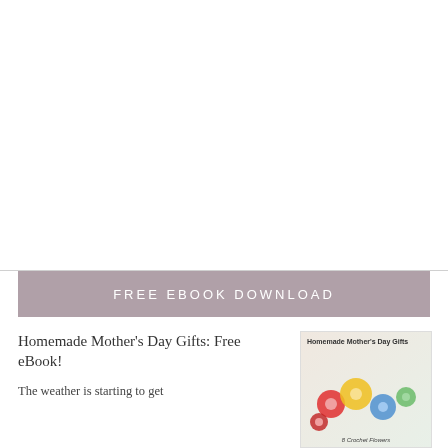[Figure (other): White empty area at the top of the page]
FREE EBOOK DOWNLOAD
Homemade Mother's Day Gifts: Free eBook!
[Figure (photo): Book cover image showing colorful crochet flowers with title 'Homemade Mother's Day Gifts' and subtitle '8 Crochet Flowers']
The weather is starting to get